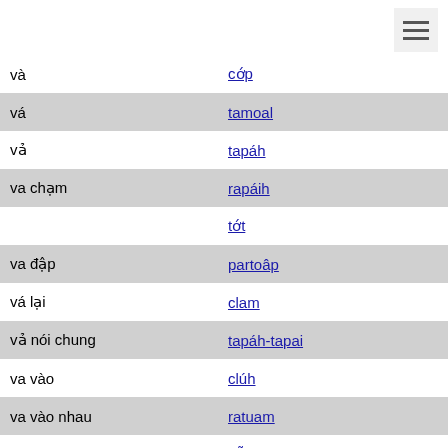| Vietnamese | Translation |
| --- | --- |
| và | cớp |
| vá | tamoal |
| vả | tapáh |
| va chạm | rapáih |
|  | tớt |
| va đập | partoâp |
| vá lại | clam |
| vả nói chung | tapáh-tapai |
| va vào | clúh |
| va vào nhau | ratuam |
| vác | dỗl |
|  | poac |
| vách đá | crang |
| vách ngăn phòng | sacút |
|  | sangkít |
| vách nhà | ratâng |
| vai | apal |
| vải | aroâiq |
| vài | hĩg |